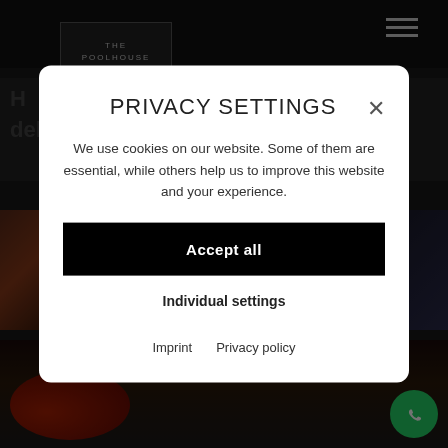[Figure (screenshot): The Poolhouse Lodge website background with navigation bar containing logo and hamburger menu icon, partially visible text about food, food photography images showing tomatoes and meat]
PRIVACY SETTINGS
We use cookies on our website. Some of them are essential, while others help us to improve this website and your experience.
Accept all
Individual settings
Imprint   Privacy policy